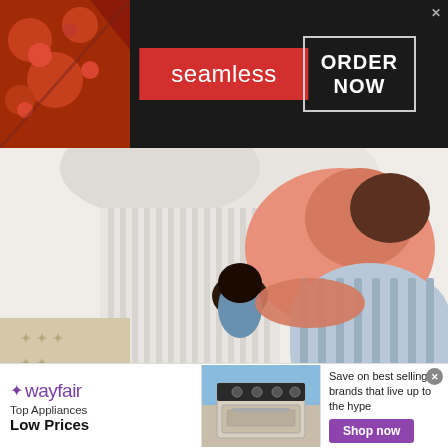[Figure (illustration): Seamless food delivery advertisement banner with pizza image on left, red Seamless logo in center, ORDER NOW button with border on right, dark background]
[Figure (illustration): Illustration of a large figure (father) lying down cuddling a small child (daughter), with striped bedding/pajamas in pastel colors, a cozy heartwarming scene]
Herbeauty
The Most Heartwarming Moments Between Father And Daughter
[Figure (illustration): Colorful horizontal strip showing wardrobe/clothing items in various colors as a decorative divider]
[Figure (illustration): Wayfair advertisement banner: Wayfair logo on left, Top Appliances Low Prices text, stove/range appliance image in center, Save on best selling brands that live up to the hype text with Shop now purple button on right]